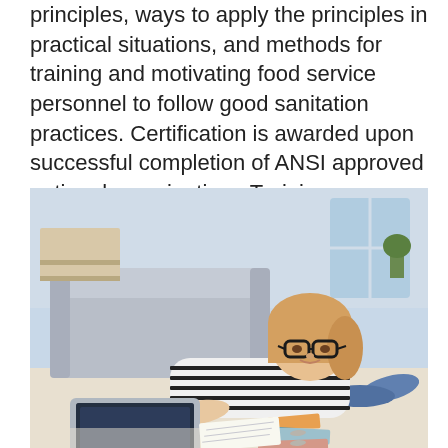principles, ways to apply the principles in practical situations, and methods for training and motivating food service personnel to follow good sanitation practices. Certification is awarded upon successful completion of ANSI approved national examination. Training covers these concepts: The Importance of Food Safety Good Personal Hygiene...read more
[Figure (photo): A young woman with glasses and blonde hair lying on the floor, working on a laptop with books and notes nearby, with a grey sofa in the background.]